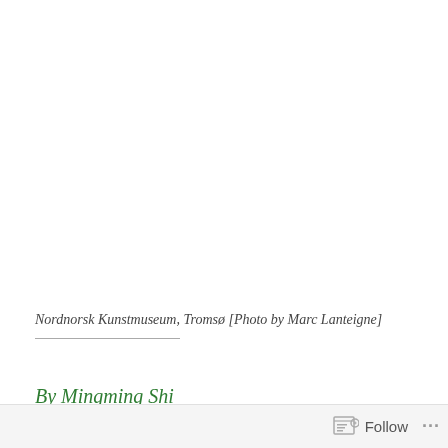[Figure (photo): Photograph of Nordnorsk Kunstmuseum in Tromsø, mostly white/blank area representing the image placeholder]
Nordnorsk Kunstmuseum, Tromsø [Photo by Marc Lanteigne]
By Mingming Shi
Follow ...